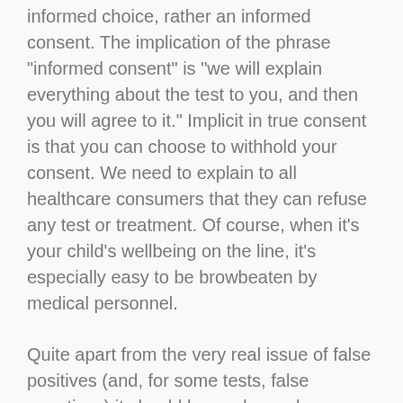informed choice, rather an informed consent. The implication of the phrase "informed consent" is "we will explain everything about the test to you, and then you will agree to it." Implicit in true consent is that you can choose to withhold your consent. We need to explain to all healthcare consumers that they can refuse any test or treatment. Of course, when it's your child's wellbeing on the line, it's especially easy to be browbeaten by medical personnel.
Quite apart from the very real issue of false positives (and, for some tests, false negatives) it should be made much more clear that testing for genetic conditions does nothing to improve outcomes, will not change whether your baby does or does not have a given